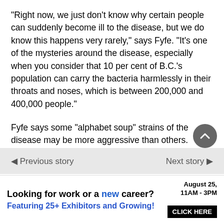“Right now, we just don’t know why certain people can suddenly become ill to the disease, but we do know this happens very rarely,” says Fyfe. “It’s one of the mysteries around the disease, especially when you consider that 10 per cent of B.C.’s population can carry the bacteria harmlessly in their throats and noses, which is between 200,000 and 400,000 people.”
Fyfe says some “alphabet soup” strains of the disease may be more aggressive than others. Currently, the provincial medical plan will cover a vaccine for strain C for children and adults born after Jan. 1, 1990, since in the 1990s and
Read More